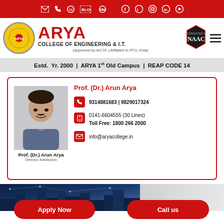Social/contact icons top bar
[Figure (logo): Arya College of Engineering & I.T. logo with NAAC badge]
Estd. Yr. 2000 | ARYA 1st Old Campus | REAP CODE 14
Prof. (Dr.) Arun Arya
9314881683 | 9829017324
0141-6604555 (30 Lines)
Toll Free: 1800 266 2000
info@aryacollege.in
Prof. (Dr.) Arun Arya
Director Admission
[Figure (photo): Aerial city network image banner]
Apply Now
Call us